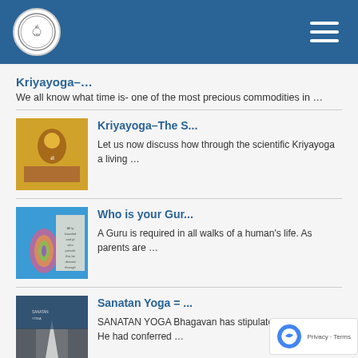Navigation header with logo and hamburger menu
Kriyayoga-…
We all know what time is- one of the most precious commodities in …
[Figure (photo): Colorful religious illustration (Bhagavad Gita / Krishna scene)]
Kriyayoga–The S...
Let us now discuss how through the scientific Kriyayoga a living …
[Figure (photo): Colorful yoga chakra illustration with text overlay]
Who is your Gur...
A Guru is required in all walks of a human's life. As parents are …
[Figure (photo): Road with arrow pointing forward into horizon]
Sanatan Yoga = ...
SANATAN YOGA Bhagavan has stipulated in the Gita, He had conferred …
[Figure (photo): Spiritual/religious illustration with swirling imagery]
Yogic essence o...
Janmastami is another important religious occasion. All